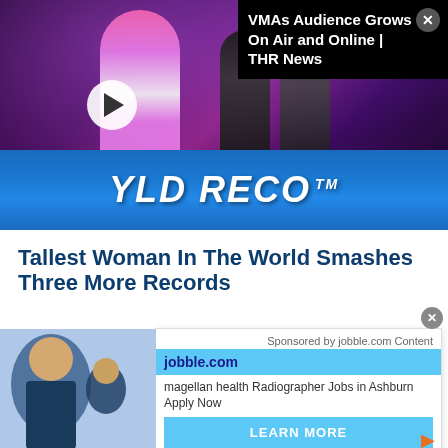[Figure (screenshot): Video thumbnail showing a music performance on stage with a pink-haired performer, backup dancers in dark outfits, purple stage lighting, and a Guinness World Records™ banner at the bottom. A white play button is overlaid on the left side.]
VMAs Audience Grows On Air and Online | THR News
Tallest Woman In The World Smashes Three More Records
Mayukh Saha
Freelance Writer
[Figure (photo): Advertisement image showing a smiling woman in medical scrubs with a stethoscope, with other healthcare workers in the background.]
Sponsored by jobble.com Content
jobble.com
magellan health Radiographer Jobs in Ashburn
Apply Now
LEARN MORE